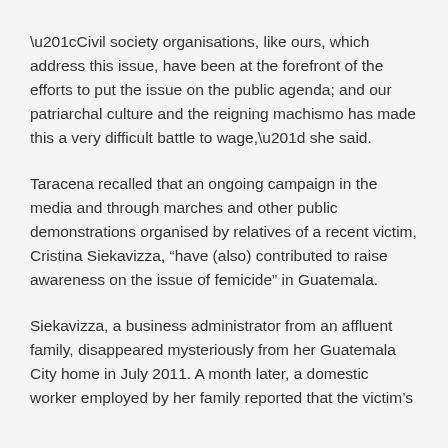“Civil society organisations, like ours, which address this issue, have been at the forefront of the efforts to put the issue on the public agenda; and our patriarchal culture and the reigning machismo has made this a very difficult battle to wage,” she said.
Taracena recalled that an ongoing campaign in the media and through marches and other public demonstrations organised by relatives of a recent victim, Cristina Siekavizza, “have (also) contributed to raise awareness on the issue of femicide” in Guatemala.
Siekavizza, a business administrator from an affluent family, disappeared mysteriously from her Guatemala City home in July 2011. A month later, a domestic worker employed by her family reported that the victim’s